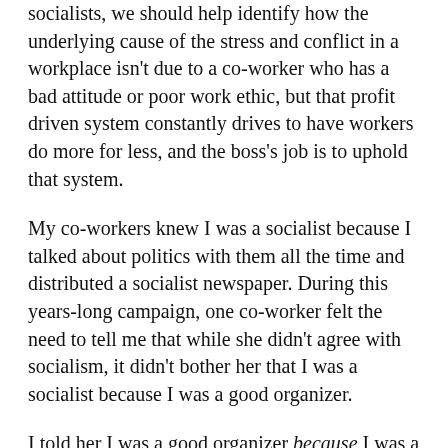socialists, we should help identify how the underlying cause of the stress and conflict in a workplace isn't due to a co-worker who has a bad attitude or poor work ethic, but that profit driven system constantly drives to have workers do more for less, and the boss's job is to uphold that system.
My co-workers knew I was a socialist because I talked about politics with them all the time and distributed a socialist newspaper. During this years-long campaign, one co-worker felt the need to tell me that while she didn't agree with socialism, it didn't bother her that I was a socialist because I was a good organizer.
I told her I was a good organizer because I was a socialist, which she thought was hilarious — but it was given in all honesty.
We should start with the premise that regular working people both have the interest and capability of changing society through collective action. We